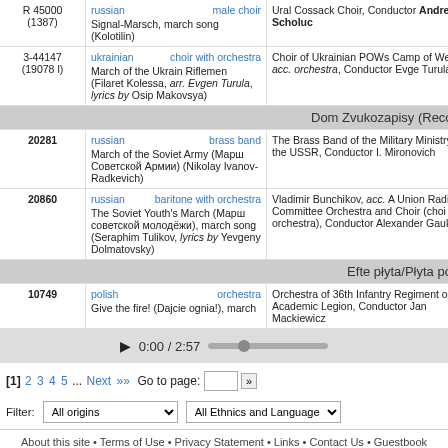| ID | Language/Type/Title | Performer/Info |
| --- | --- | --- |
| R 45000
(1387) | russian | male choir
Signal-Marsch, march song (Kolotilin) | Ural Cossack Choir, Conductor Andrei Scholuc |
| 3-44147
(19078 l) | ukrainian | choir with orchestra
March of the Ukrain Riflemen (Filaret Kolessa, arr. Evgen Turula, lyrics by Osip Makovsya) | Choir of Ukrainian POWs Camp of Wetzlar, acc. orchestra, Conductor Evge Turula |
| Dom Zvukozapisy (Records) |  |  |
| 20281 | russian | brass band
March of the Soviet Army (Марш Советской Армии) (Nikolay Ivanov-Radkevich) | The Brass Band of the Military Ministry of the USSR, Conductor I. Mironovich |
| 20860 | russian | baritone with orchestra
The Soviet Youth's March (Марш советской молодёжи), march song (Seraphim Tulikov, lyrics by Yevgeny Dolmatovsky) | Vladimir Bunchikov, acc. A Union Radio Committee Orchestra and Choir (choi and orchestra), Conductor Alexander Gauk |
| Efte płyta/Płyta polska |  |  |
| 10749 | polish | orchestra
Give the fire! (Dajcie ognia!), march | Orchestra of 36th Infantry Regiment of the Academic Legion, Conductor Jan Mackiewicz |
0:00 / 2:57
[1] 2 3 4 5 ... Next »» Go to page: »
Filter: All origins | All Ethnics and Languages
About this site • Terms of Use • Privacy Statement • Links • Contact Us • Guestbook